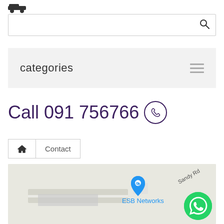[Figure (screenshot): Car/taxi icon at top left of page]
[Figure (screenshot): Search bar with magnifying glass icon]
categories
Call 091 756766
Home | Contact
[Figure (map): Street map showing ESB Networks location marker with label, Sandy Rd visible, and a WhatsApp floating button]